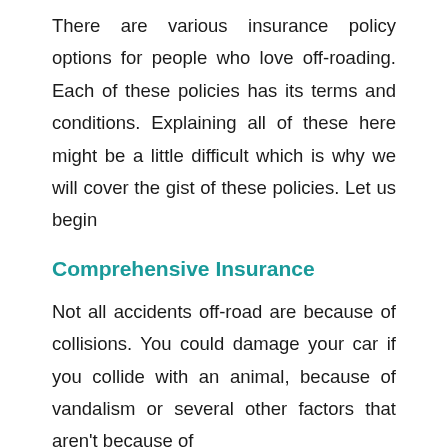There are various insurance policy options for people who love off-roading. Each of these policies has its terms and conditions. Explaining all of these here might be a little difficult which is why we will cover the gist of these policies. Let us begin
Comprehensive Insurance
Not all accidents off-road are because of collisions. You could damage your car if you collide with an animal, because of vandalism or several other factors that aren't because of